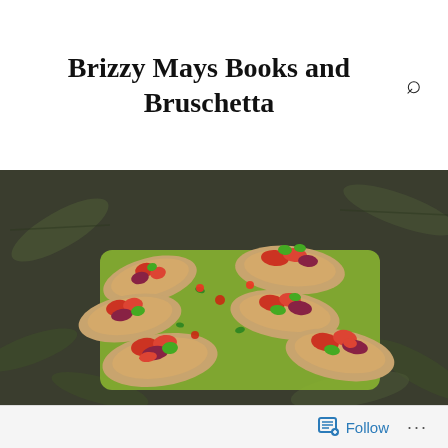Brizzy Mays Books and Bruschetta
[Figure (photo): Multiple pieces of bruschetta topped with cherry tomatoes, red onion, and fresh basil arranged on a green rectangular serving tray, placed on a dark tropical leaf-print tablecloth.]
Follow